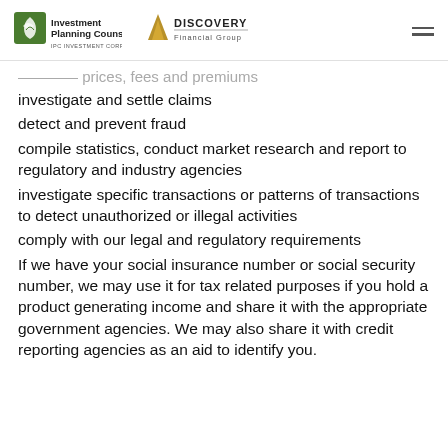Investment Planning Counsel / IPC Investment Corporation | Discovery Financial Group
determine prices, fees and premiums
investigate and settle claims
detect and prevent fraud
compile statistics, conduct market research and report to regulatory and industry agencies
investigate specific transactions or patterns of transactions to detect unauthorized or illegal activities
comply with our legal and regulatory requirements
If we have your social insurance number or social security number, we may use it for tax related purposes if you hold a product generating income and share it with the appropriate government agencies. We may also share it with credit reporting agencies as an aid to identify you.